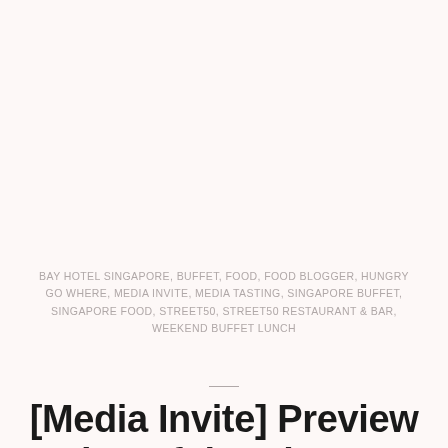BAY HOTEL SINGAPORE, BUFFET, FOOD, FOOD BLOGGER, HUNGRY GO WHERE, MEDIA INVITE, MEDIA TASTING, SINGAPORE BUFFET, SINGAPORE FOOD, STREET50, STREET50 RESTAURANT & BAR, WEEKEND BUFFET LUNCH
[Media Invite] Preview Tasting of the Singapore